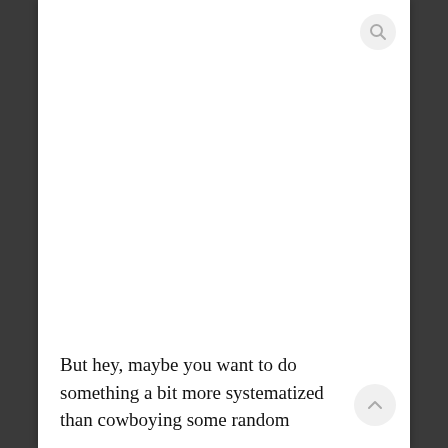But hey, maybe you want to do something a bit more systematized than cowboying some random